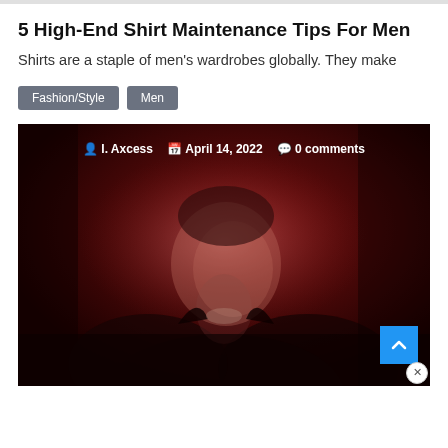5 High-End Shirt Maintenance Tips For Men
Shirts are a staple of men’s wardrobes globally. They make
Fashion/Style
Men
[Figure (photo): A man laughing, wearing a dark jacket and shirt, holding something small. The image has a deep red/dark tinted overlay. Overlaid text shows author, date, and comment count: I. Axcess | April 14, 2022 | 0 comments. A blue scroll-to-top button is in the bottom right corner.]